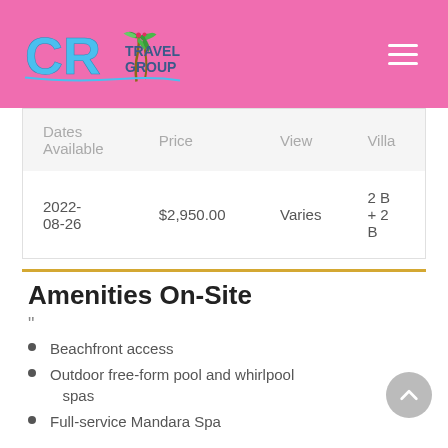CR Travel Group
| Dates Available | Price | View | Villa |
| --- | --- | --- | --- |
| 2022-08-26 | $2,950.00 | Varies | 2 B + 2 B |
Amenities On-Site
"
Beachfront access
Outdoor free-form pool and whirlpool spas
Full-service Mandara Spa